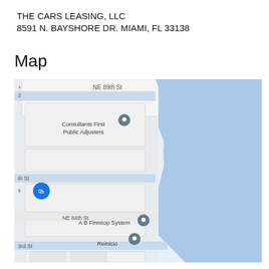THE CARS LEASING, LLC
8591 N. BAYSHORE DR. MIAMI, FL 33138
Map
[Figure (map): Google Maps view centered near 8591 N. Bayshore Dr., Miami, FL 33138, showing NE 89th St, NE 84th St, Consultants First Public Adjusters, A B Firestop System, and Reinicio as points of interest, with blue water (Biscayne Bay) on the right side and a blue location pin marking the business address.]